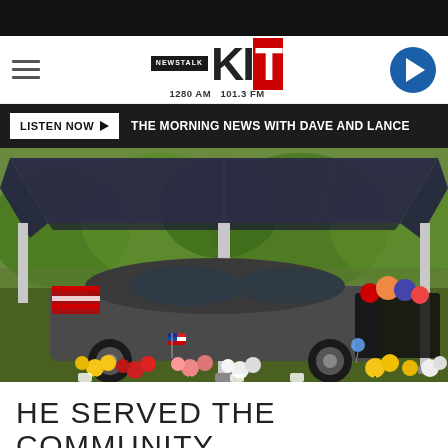NEWSTALK KIT 1280 AM 101.3 FM
LISTEN NOW ▶  THE MORNING NEWS WITH DAVE AND LANCE
[Figure (photo): A dark blue pop-up canopy tent set up outdoors over a dark gray sedan car. The ground in front is covered with numerous flower bouquets in various colors including red, yellow, pink, and white. An American flag is visible among the flowers. Green trees and bushes are in the background.]
HE SERVED THE COMMUNITY